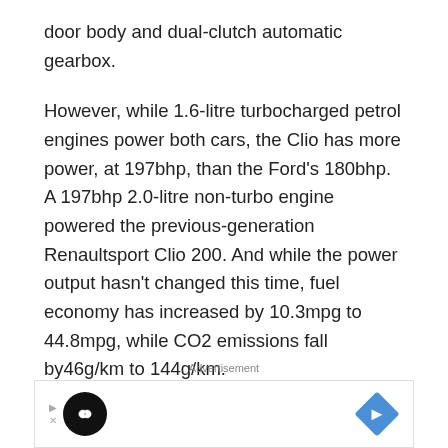door body and dual-clutch automatic gearbox.
However, while 1.6-litre turbocharged petrol engines power both cars, the Clio has more power, at 197bhp, than the Ford’s 180bhp. A 197bhp 2.0-litre non-turbo engine powered the previous-generation Renaultsport Clio 200. And while the power output hasn’t changed this time, fuel economy has increased by 10.3mpg to 44.8mpg, while CO2 emissions fall by46g/km to 144g/km.
The 0-62mph sprint takes 6.7 seconds, down from the
[Figure (other): Advertisement banner with a black circle containing an infinity-like logo on the left and a blue diamond with a right-arrow icon on the right, labeled 'Advertisement' above.]